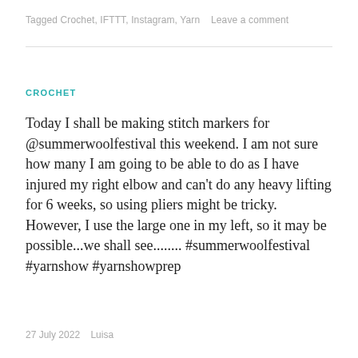Tagged Crochet, IFTTT, Instagram, Yarn   Leave a comment
CROCHET
Today I shall be making stitch markers for @summerwoolfestival this weekend. I am not sure how many I am going to be able to do as I have injured my right elbow and can't do any heavy lifting for 6 weeks, so using pliers might be tricky. However, I use the large one in my left, so it may be possible...we shall see........ #summerwoolfestival #yarnshow #yarnshowprep
27 July 2022   Luisa